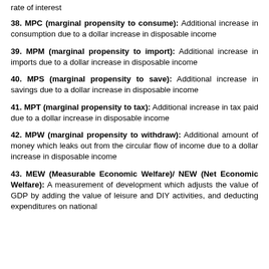rate of interest
38. MPC (marginal propensity to consume): Additional increase in consumption due to a dollar increase in disposable income
39. MPM (marginal propensity to import): Additional increase in imports due to a dollar increase in disposable income
40. MPS (marginal propensity to save): Additional increase in savings due to a dollar increase in disposable income
41. MPT (marginal propensity to tax): Additional increase in tax paid due to a dollar increase in disposable income
42. MPW (marginal propensity to withdraw): Additional amount of money which leaks out from the circular flow of income due to a dollar increase in disposable income
43. MEW (Measurable Economic Welfare)/ NEW (Net Economic Welfare): A measurement of development which adjusts the value of GDP by adding the value of leisure and DIY activities, and deducting expenditures on national